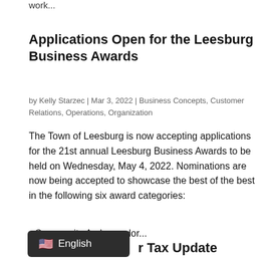work...
Applications Open for the Leesburg Business Awards
by Kelly Starzec | Mar 3, 2022 | Business Concepts, Customer Relations, Operations, Organization
The Town of Leesburg is now accepting applications for the 21st annual Leesburg Business Awards to be held on Wednesday, May 4, 2022. Nominations are now being accepted to showcase the best of the best in the following six award categories:
• Community Ambassador...
English
r Tax Update